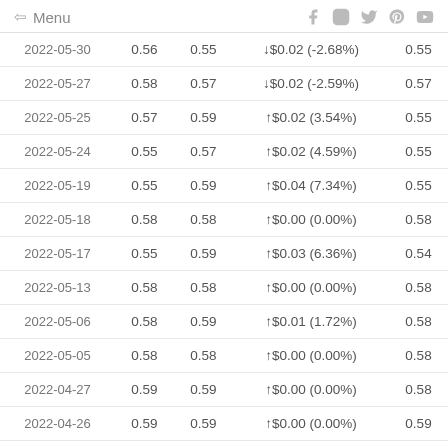← Menu | social icons: Facebook, Instagram, Twitter, Pinterest, YouTube
| Date | Col2 | Col3 | Change | Col5 |
| --- | --- | --- | --- | --- |
| 2022-05-30 | 0.56 | 0.55 | ↓$0.02 (-2.68%) | 0.55 |
| 2022-05-27 | 0.58 | 0.57 | ↓$0.02 (-2.59%) | 0.57 |
| 2022-05-25 | 0.57 | 0.59 | ↑$0.02 (3.54%) | 0.55 |
| 2022-05-24 | 0.55 | 0.57 | ↑$0.02 (4.59%) | 0.55 |
| 2022-05-19 | 0.55 | 0.59 | ↑$0.04 (7.34%) | 0.55 |
| 2022-05-18 | 0.58 | 0.58 | ↑$0.00 (0.00%) | 0.58 |
| 2022-05-17 | 0.55 | 0.59 | ↑$0.03 (6.36%) | 0.54 |
| 2022-05-13 | 0.58 | 0.58 | ↑$0.00 (0.00%) | 0.58 |
| 2022-05-06 | 0.58 | 0.59 | ↑$0.01 (1.72%) | 0.58 |
| 2022-05-05 | 0.58 | 0.58 | ↑$0.00 (0.00%) | 0.58 |
| 2022-04-27 | 0.59 | 0.59 | ↑$0.00 (0.00%) | 0.58 |
| 2022-04-26 | 0.59 | 0.59 | ↑$0.00 (0.00%) | 0.59 |